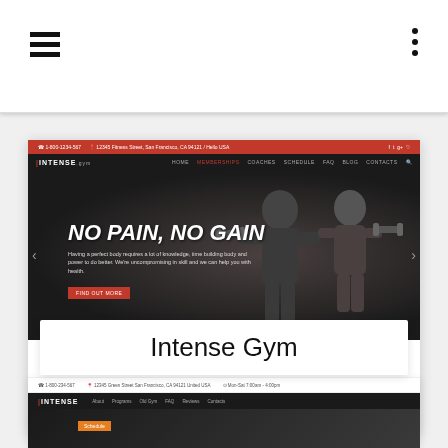[Figure (screenshot): Mobile app/browser top navigation bar with hamburger menu on left and vertical dots menu on right, white background]
[Figure (screenshot): Screenshot of 'Intense Gym' website showing hero section with 'NO PAIN, NO GAIN' headline over athletes photo, navigation bar, red top info bar, white title card with 'Intense Gym', Welcome section with three feature boxes (Qualified Coaches, Individual Approach, Modern Fitness Equipment), and bottom footer strip with INTENSE logo and nav links]